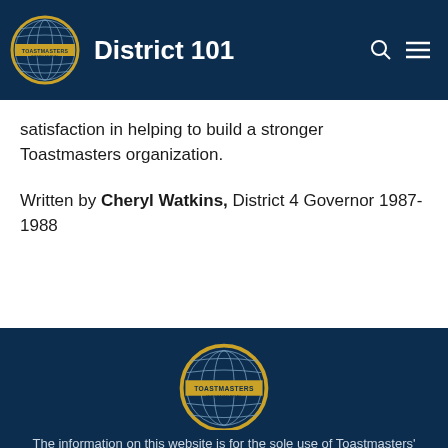District 101
satisfaction in helping to build a stronger Toastmasters organization.
Written by Cheryl Watkins, District 4 Governor 1987-1988
[Figure (logo): Toastmasters International globe logo in footer]
The information on this website is for the sole use of Toastmasters' members for Toastmasters business only.